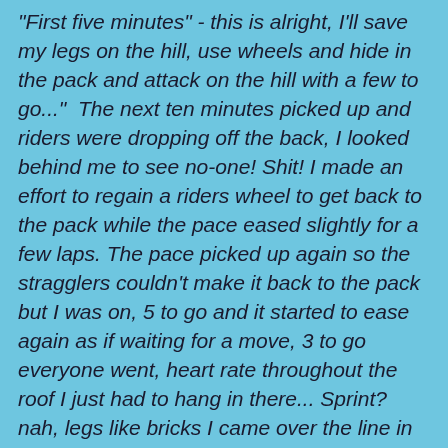"First five minutes" - this is alright, I'll save my legs on the hill, use wheels and hide in the pack and attack on the hill with a few to go..." The next ten minutes picked up and riders were dropping off the back, I looked behind me to see no-one! Shit! I made an effort to regain a riders wheel to get back to the pack while the pace eased slightly for a few laps. The pace picked up again so the stragglers couldn't make it back to the pack but I was on, 5 to go and it started to ease again as if waiting for a move, 3 to go everyone went, heart rate throughout the roof I just had to hang in there... Sprint? nah, legs like bricks I came over the line in 9th. Race plan? What race plan? Cat 2/3 By Paul